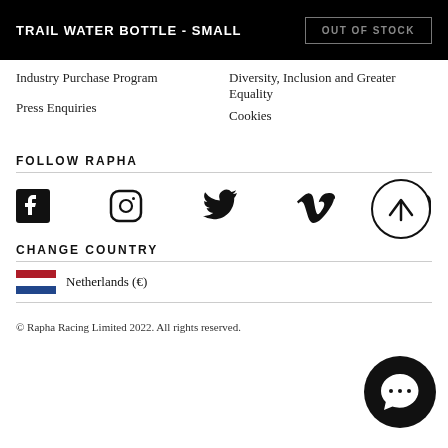TRAIL WATER BOTTLE - SMALL | OUT OF STOCK
Industry Purchase Program
Diversity, Inclusion and Greater Equality
Press Enquiries
Cookies
FOLLOW RAPHA
[Figure (other): Social media icons: Facebook, Instagram, Twitter, Vimeo, YouTube]
CHANGE COUNTRY
Netherlands (€)
[Figure (other): Scroll to top button (circle with upward arrow)]
[Figure (other): Chat button (dark circle with chat icon and Rapha branding)]
© Rapha Racing Limited 2022. All rights reserved.